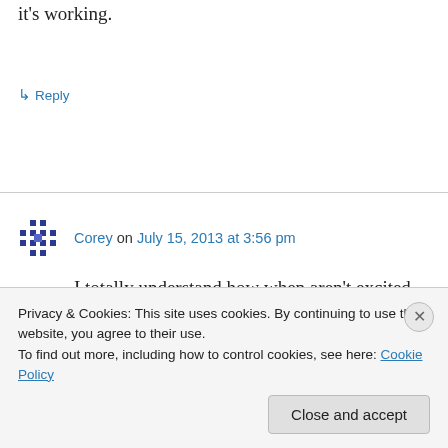it's working.
↳ Reply
Corey on July 15, 2013 at 3:56 pm
I totally understand how when aren't excited about the training that it can be a huge weight on your shoulders. It takes a lot of sacrifice and
Privacy & Cookies: This site uses cookies. By continuing to use this website, you agree to their use.
To find out more, including how to control cookies, see here: Cookie Policy
Close and accept